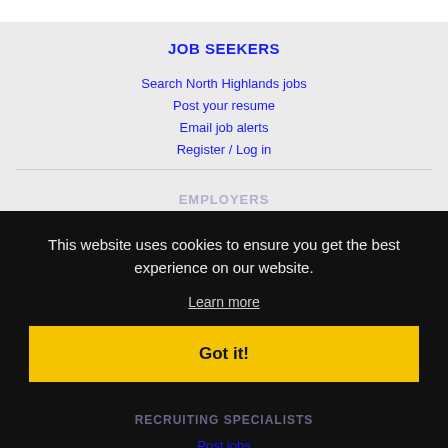JOB SEEKERS
Search North Highlands jobs
Post your resume
Email job alerts
Register / Log in
EMPLOYERS
This website uses cookies to ensure you get the best experience on our website.
Learn more
Got it!
RECRUITING SPECIALISTS
Post jobs